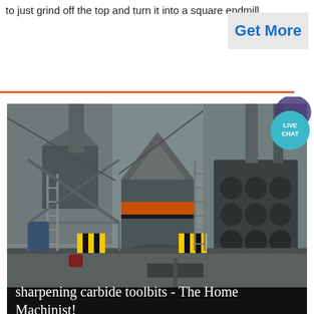to just grind off the top and turn it into a square endmill
Get More
[Figure (photo): Industrial grinding/milling machinery in a factory setting. Large cylindrical equipment with orange-banded drum, steel framework, pipes, ladders, and heavy industrial components. Yellow safety barriers visible in background.]
sharpening carbide toolbits - The Home Machinist!